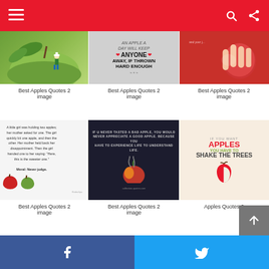[Figure (screenshot): Red navigation bar with hamburger menu icon on left and search/share icons on right]
[Figure (photo): Miniature figure of a person on a large green apple with leaves]
[Figure (photo): Quote image: 'AN APPLE A DAY WILL KEEP ANYONE AWAY, IF THROWN HARD ENOUGH']
[Figure (photo): Close-up of a person biting into a red apple]
Best Apples Quotes 2 image
Best Apples Quotes 2 image
Best Apples Quotes 2 image
[Figure (photo): Quote about a little girl holding two apples, moral: Never judge, with apples at bottom]
[Figure (photo): Dark background apple quote: 'If you never tasted a bad apple, you would never appreciate a good apple...']
[Figure (photo): Infographic: 'If you want apples you have to shake the trees']
Best Apples Quotes 2 image
Best Apples Quotes 2 image
Apples Quotes 2
[Figure (screenshot): Facebook and Twitter share buttons at bottom of page]